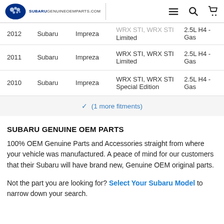SUBARU SUBARUGENUINEOEMPARTS.COM
| Year | Make | Model | Submodel | Engine |
| --- | --- | --- | --- | --- |
| 2012 | Subaru | Impreza | WRX STI, WRX STI Limited | 2.5L H4 - Gas |
| 2011 | Subaru | Impreza | WRX STI, WRX STI Limited | 2.5L H4 - Gas |
| 2010 | Subaru | Impreza | WRX STI, WRX STI Special Edition | 2.5L H4 - Gas |
✓ (1 more fitments)
SUBARU GENUINE OEM PARTS
100% OEM Genuine Parts and Accessories straight from where your vehicle was manufactured. A peace of mind for our customers that their Subaru will have brand new, Genuine OEM original parts.
Not the part you are looking for? Select Your Subaru Model to narrow down your search.